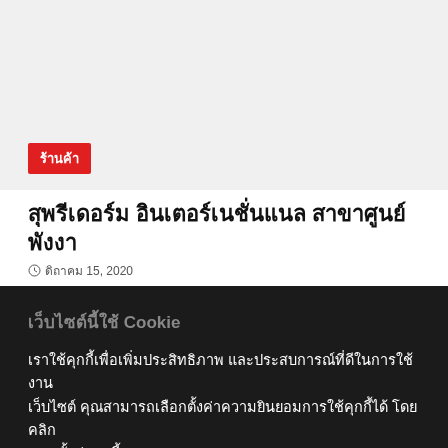[Figure (photo): Light gray placeholder image area for article thumbnail]
ร้านค้า
สุพรีเดอร์ม อินเตอร์เนชั่นแนล สาขาศูนย์พังงา
ดิถาคม 15, 2020
เว็บไซต์นี้ใช้ Cookie
เราใช้คุกกี้เพื่อเพิ่มประสิทธิภาพ และประสบการณ์ที่ดีในการใช้งานเว็บไซต์ คุณสามารถเลือกตั้งค่าความยินยอมการใช้คุกกี้ได้ โดยคลิก "การตั้งค่าคุกกี้"
การตั้งค่าคุกกี้
ปฏิเสธทั้งหมด
ยอมรับทั้งหมด